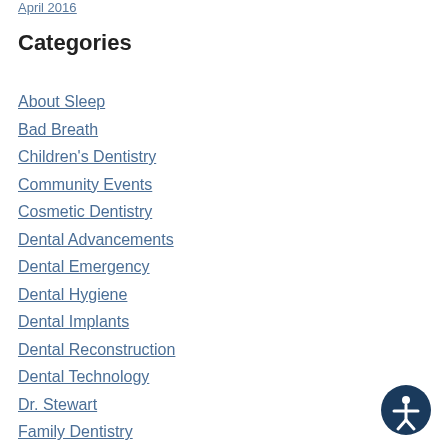April 2016
Categories
About Sleep
Bad Breath
Children's Dentistry
Community Events
Cosmetic Dentistry
Dental Advancements
Dental Emergency
Dental Hygiene
Dental Implants
Dental Reconstruction
Dental Technology
Dr. Stewart
Family Dentistry
General
General Dentistry
Gum Health
Headaches
Healthy Living
Just for Fun
Nutrition